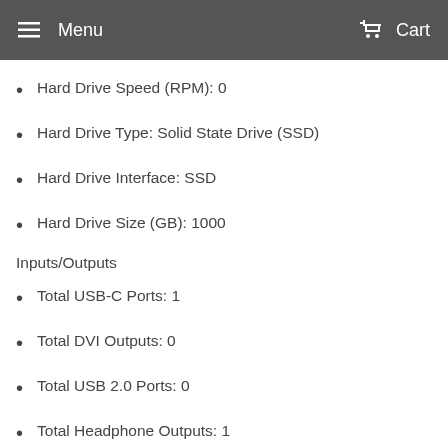Menu  Cart
Hard Drive Speed (RPM): 0
Hard Drive Type: Solid State Drive (SSD)
Hard Drive Interface: SSD
Hard Drive Size (GB): 1000
Inputs/Outputs
Total USB-C Ports: 1
Total DVI Outputs: 0
Total USB 2.0 Ports: 0
Total Headphone Outputs: 1
Total HDMI Outputs: 1
Total USB 3.0 Ports: 3
Total Ethernet Ports (RJ-45): 0